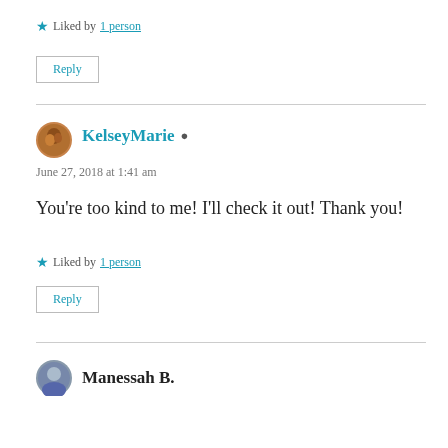★ Liked by 1 person
Reply
KelseyMarie ▲
June 27, 2018 at 1:41 am
You're too kind to me! I'll check it out! Thank you!
★ Liked by 1 person
Reply
Manessah B.